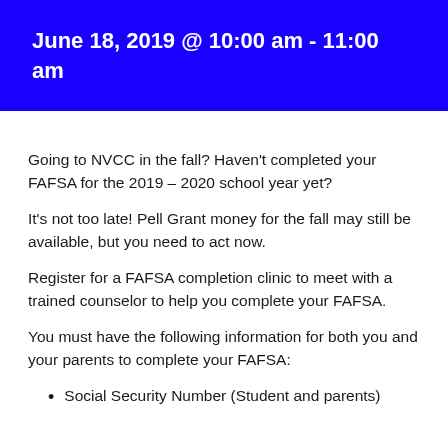June 18, 2019 @ 10:00 am - 11:00 am
Going to NVCC in the fall? Haven't completed your FAFSA for the 2019 – 2020 school year yet?
It's not too late! Pell Grant money for the fall may still be available, but you need to act now.
Register for a FAFSA completion clinic to meet with a trained counselor to help you complete your FAFSA.
You must have the following information for both you and your parents to complete your FAFSA:
Social Security Number (Student and parents)